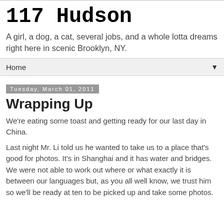117 Hudson
A girl, a dog, a cat, several jobs, and a whole lotta dreams right here in scenic Brooklyn, NY.
Home ▼
Tuesday, March 01, 2011
Wrapping Up
We're eating some toast and getting ready for our last day in China.
Last night Mr. Li told us he wanted to take us to a place that's good for photos. It's in Shanghai and it has water and bridges. We were not able to work out where or what exactly it is between our languages but, as you all well know, we trust him so we'll be ready at ten to be picked up and take some photos.